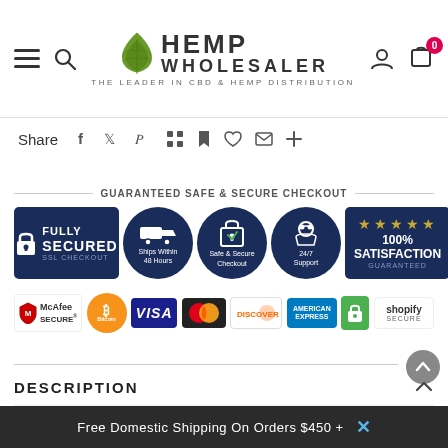Hemp Wholesaler – The Leader In CBD & Hemp Distribution
Share
[Figure (screenshot): Guaranteed Safe & Secure Checkout badges: Fully Secured SSL Checkout, Ships Within 48 Hours, Safe & Secure Checkout, 24/7 Support, 100% Satisfaction Guaranteed]
[Figure (screenshot): Payment method logos: McAfee Secure, Bitcoin, Visa, Mastercard, Discover, American Express, green lock, Shopify Secure]
DESCRIPTION
Free Domestic Shipping On Orders $450 +